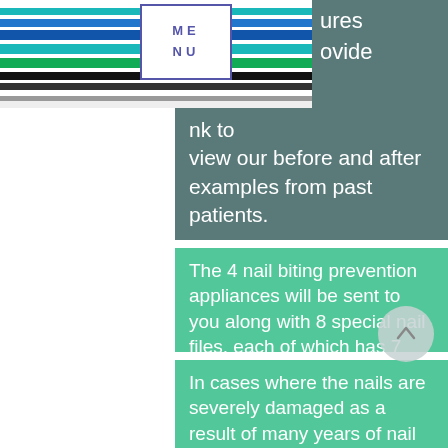[Figure (screenshot): Navigation menu header with horizontal colored stripes (white, teal, blue, dark blue, green, black) and a MENU box overlay in the upper left area]
view our before and after examples from past patients.
The 4 nail biting prevention appliances will be sent to you along with 8 special nail files, each of which has 7 different sides that can gradually file and buff your nails and cuticles until they become smooth like silk.
In cases where the nails are severely damaged as a result of many years of nail biting, the treatment might take longer than 8 weeks, and in these cases,